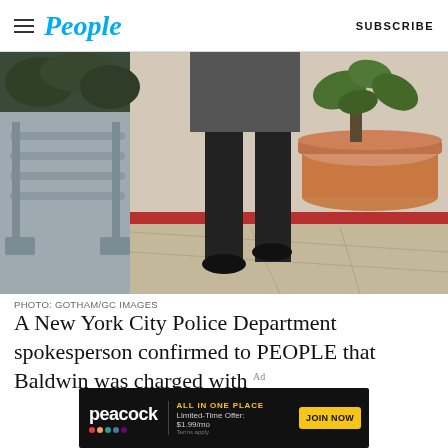People | SUBSCRIBE
[Figure (photo): Photo of a person walking on a sidewalk in black pants and dress shoes, with metal barricades on the left and a large terracotta pot with a plant on the right. Background shows a red-trimmed building.]
PHOTO: GOTHAM/GC IMAGES
A New York City Police Department spokesperson confirmed to PEOPLE that Baldwin was charged with